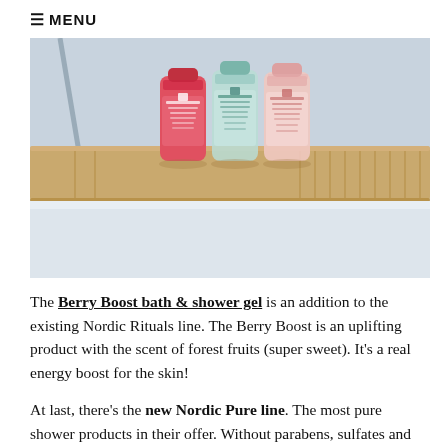≡ MENU
[Figure (photo): Three Barnängen shower gel bottles (red/berry, light teal, and pale pink) sitting on a wooden bath tray over a bathtub.]
The Berry Boost bath & shower gel is an addition to the existing Nordic Rituals line. The Berry Boost is an uplifting product with the scent of forest fruits (super sweet). It's a real energy boost for the skin!
At last, there's the new Nordic Pure line. The most pure shower products in their offer. Without parabens, sulfates and pigments. The Pure & Energizing showergel is with mineral salts (love the